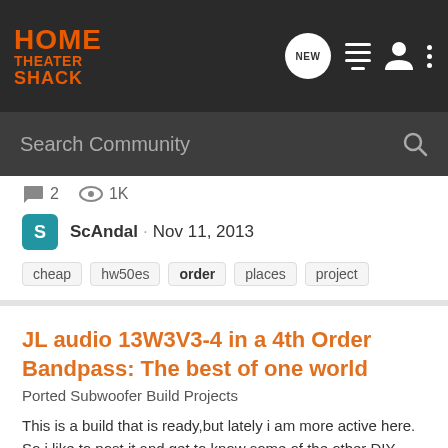HOME THEATER SHACK
Search Community
💬 2   👁 1K
ScAndal · Nov 11, 2013
cheap
hw50es
order
places
project
JL audio 13W3V3-4 in a 4th Order Bandpass: The best of one world
Ported Subwoofer Build Projects
This is a build that is ready,but lately i am more active here. So i like to post it,and get to know some of the other DIY members over here. Its called: The best of one world,because i also use a 13W3V3 in a 40 liter closed box beside it. I called it The best of both world,s using them...
💬 10   👁 16K